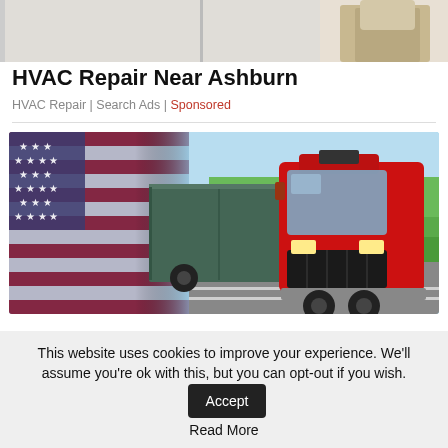[Figure (photo): Partial view of a person (tan/khaki pants, torso) near a white surface, cropped at top of page]
HVAC Repair Near Ashburn
HVAC Repair | Search Ads | Sponsored
[Figure (photo): A red semi-truck driving on a highway, overlaid with an American flag on the left side. Green trees and blue sky in background.]
This website uses cookies to improve your experience. We'll assume you're ok with this, but you can opt-out if you wish. Accept Read More